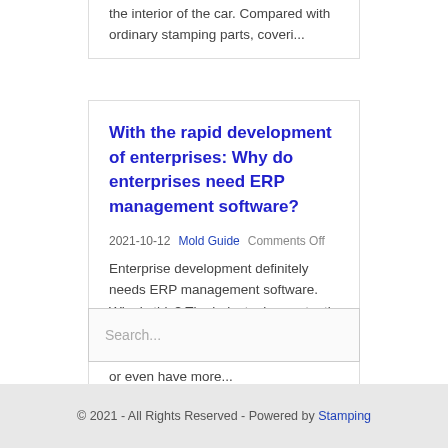the interior of the car. Compared with ordinary stamping parts, coveri...
With the rapid development of enterprises: Why do enterprises need ERP management software?
2021-10-12  Mold Guide  Comments Off
Enterprise development definitely needs ERP management software. Why is this? The industry is constantly advancing. If the company will not be eliminated by the market in the future, or even have more...
Search...
© 2021 - All Rights Reserved - Powered by Stamping